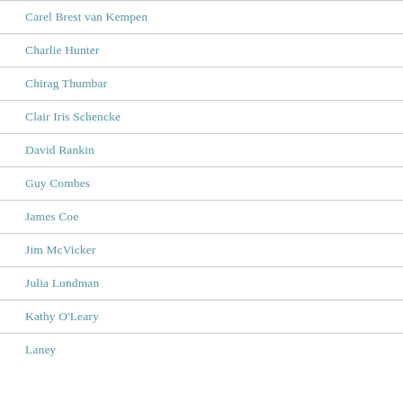Carel Brest van Kempen
Charlie Hunter
Chirag Thumbar
Clair Iris Schencke
David Rankin
Guy Combes
James Coe
Jim McVicker
Julia Lundman
Kathy O'Leary
Laney